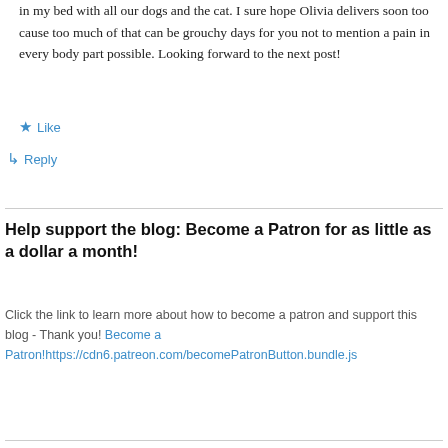in my bed with all our dogs and the cat. I sure hope Olivia delivers soon too cause too much of that can be grouchy days for you not to mention a pain in every body part possible. Looking forward to the next post!
★ Like
↳ Reply
Help support the blog: Become a Patron for as little as a dollar a month!
Click the link to learn more about how to become a patron and support this blog - Thank you! Become a Patron!https://cdn6.patreon.com/becomePatronButton.bundle.js